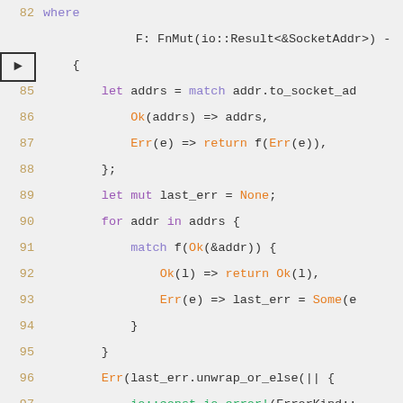[Figure (screenshot): Rust source code snippet showing lines 82-99 with syntax highlighting. Lines show a function with FnMut parameter handling socket addresses, with match expressions for Ok/Err variants.]